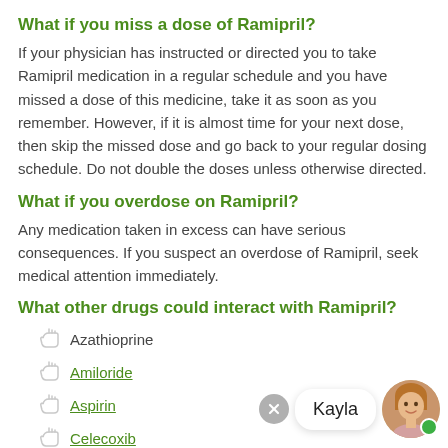What if you miss a dose of Ramipril?
If your physician has instructed or directed you to take Ramipril medication in a regular schedule and you have missed a dose of this medicine, take it as soon as you remember. However, if it is almost time for your next dose, then skip the missed dose and go back to your regular dosing schedule. Do not double the doses unless otherwise directed.
What if you overdose on Ramipril?
Any medication taken in excess can have serious consequences. If you suspect an overdose of Ramipril, seek medical attention immediately.
What other drugs could interact with Ramipril?
Azathioprine
Amiloride
Aspirin
Celecoxib
Diclofenac
Digoxin
Etodolac
[Figure (illustration): Chat overlay with close button, speech bubble showing name 'Kayla', and avatar of a woman with online indicator dot]